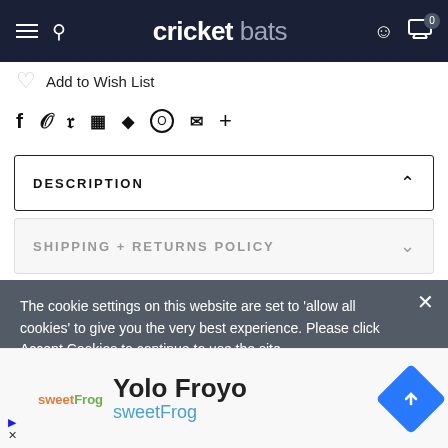[Figure (screenshot): Navigation bar for 'cricket bats' website with hamburger menu, search icon, logo, user icon, and cart icon showing 0 items]
Add to Wish List
f  t  p  ⊞  ♦  O  ✉  +  (social share icons)
DESCRIPTION
SHIPPING + RETURNS POLICY
The cookie settings on this website are set to 'allow all cookies' to give you the very best experience. Please click Accept Cookies to continue to use the site.
TRADITIONAL (336 BLADE LENGTH
IDLE LENGTH 8MM)
[Figure (screenshot): Ad banner for Yolo Froyo by sweetFrog with navigation arrow icon]